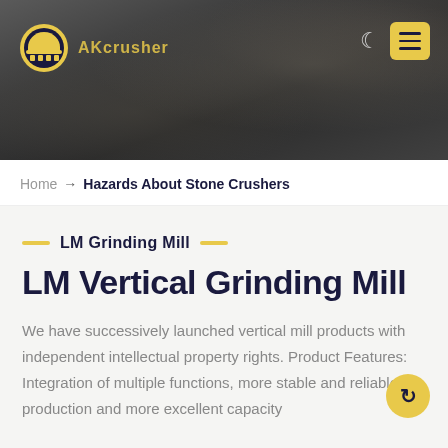[Figure (photo): Dark industrial header image showing stone crusher machinery and rocky quarry background with company logo (AKcrusher) and navigation icons]
Home → Hazards About Stone Crushers
LM Grinding Mill
LM Vertical Grinding Mill
We have successively launched vertical mill products with independent intellectual property rights. Product Features: Integration of multiple functions, more stable and reliable production and more excellent capacity